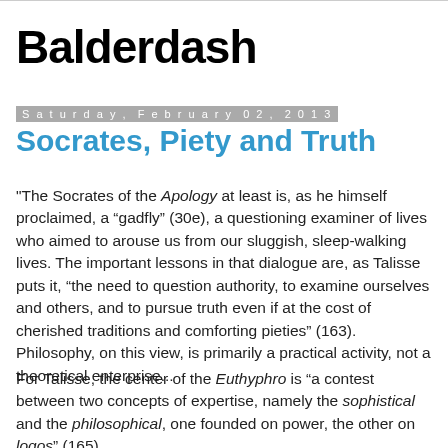Balderdash
Saturday, February 02, 2013
Socrates, Piety and Truth
"The Socrates of the Apology at least is, as he himself proclaimed, a “gadfly” (30e), a questioning examiner of lives who aimed to arouse us from our sluggish, sleep-walking lives. The important lessons in that dialogue are, as Talisse puts it, “the need to question authority, to examine ourselves and others, and to pursue truth even if at the cost of cherished traditions and comforting pieties” (163). Philosophy, on this view, is primarily a practical activity, not a theoretical enterprise...
For Talisse, the center of the Euthyphro is “a contest between two concepts of expertise, namely the sophistical and the philosophical, one founded on power, the other on logos” (165).